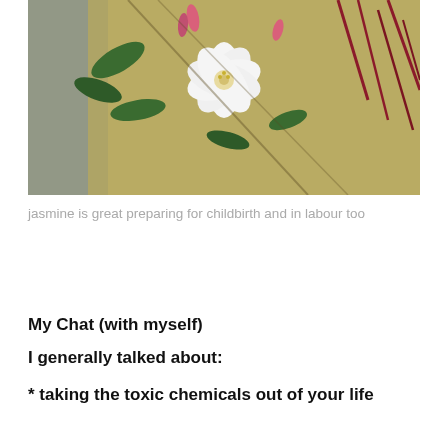[Figure (photo): Close-up photograph of white jasmine flowers with pink buds and green and red stems against a yellow-beige wall background]
jasmine is great preparing for childbirth and in labour too
My Chat (with myself)
I generally talked about:
* taking the toxic chemicals out of your life